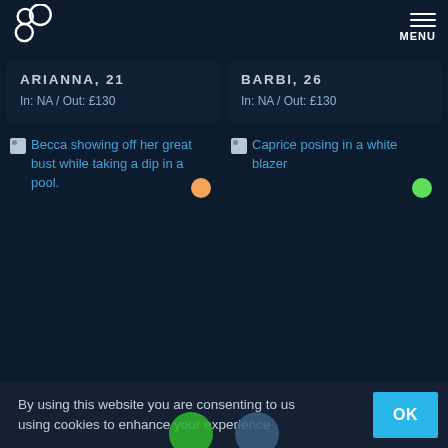Logo / MENU
ARIANNA, 21
In: NA / Out: £130
BARBI, 26
In: NA / Out: £130
[Figure (other): Broken image placeholder for Becca showing off her great bust while taking a dip in a pool. Orange status dot.]
[Figure (other): Broken image placeholder for Caprice posing in a white blazer. Green status dot.]
By using this website you are consenting to us using cookies to enhance your experience